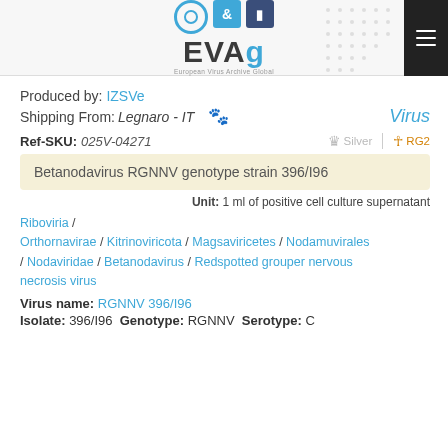EVAg – European Virus Archive Global
Produced by: IZSVe
Shipping From: Legnaro - IT  🐾  Virus
Ref-SKU: 025V-04271  Silver  RG2
Betanodavirus RGNNV genotype strain 396/I96
Unit: 1 ml of positive cell culture supernatant
Riboviria / Orthornavirae / Kitrinoviricota / Magsaviricetes / Nodamuvirales / Nodaviridae / Betanodavirus / Redspotted grouper nervous necrosis virus
Virus name: RGNNV 396/I96
Isolate: 396/I96  Genotype: RGNNV  Serotype: C